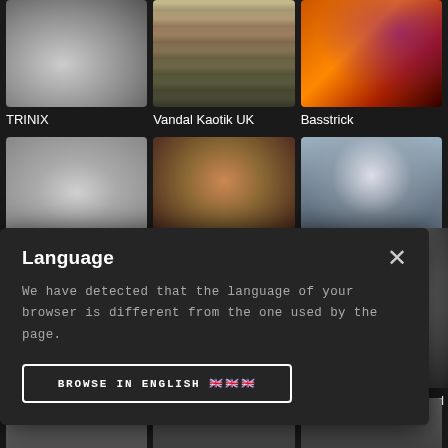[Figure (photo): Artist card grid showing 3 artists in top row and 3 artists in second row on dark background, with a language selection modal overlay]
TRINIX
Vandal Kaotik UK
Basstrick
Keos
Creeds
Damion RK Music
Language
We have detected that the language of your browser is different from the one used by the page.
BROWSE IN ENGLISH 🇬🇧
ffred